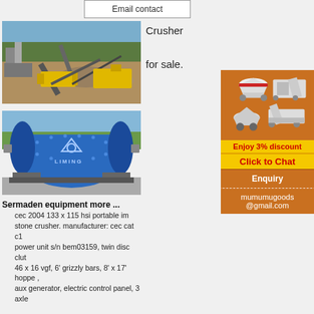Email contact
Crusher

for sale.
[Figure (photo): Outdoor quarry/mining site with crushers, conveyors, yellow equipment and stone piles]
[Figure (photo): Large blue cylindrical ball mill labeled LIMING on a concrete base outdoors]
[Figure (infographic): Orange ad banner showing crushing/milling machines, 'Enjoy 3% discount', 'Click to Chat', 'Enquiry', and 'mumumugoods@gmail.com']
Sermaden equipment more ...
cec 2004 133 x 115 hsi portable imp stone crusher. manufacturer: cec cat c15 power unit s/n bem03159, twin disc clut 46 x 16 vgf, 6' grizzly bars, 8' x 17' hopper, aux generator, electric control panel, 3 axle